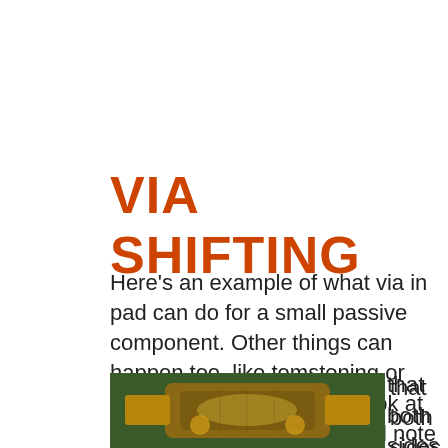VIA SHIFTING
Here's an example of what via in pad can do for a small passive component. Other things can happen too, like tomstoning or twisting. But take a close look at this photo. In doing so, you'll note that both sides of the part are soldered down. Sure, it's shifted, but who really cares? It's
[Figure (photo): Close-up photograph of a small electronic SMD component (passive) that has shifted on its pad, showing both sides soldered down on a PCB with green substrate visible.]